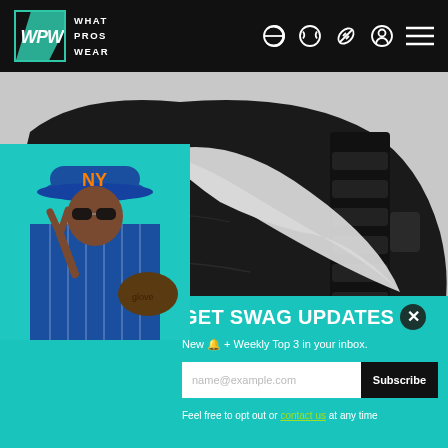WHAT PROS WEAR
[Figure (photo): Close-up of a black Nike baseball cleat with silver swoosh logo, showing worn texture and toe cleat area against a light background]
[Figure (photo): New York Mets baseball player in blue and white pinstripe uniform making a peace sign gesture with a catcher's mitt]
GET SWAG UPDATES
New 🔔 + Weekly Top 3 in your inbox.
name@example.com
Subscribe
Feel free to opt out or contact us at any time